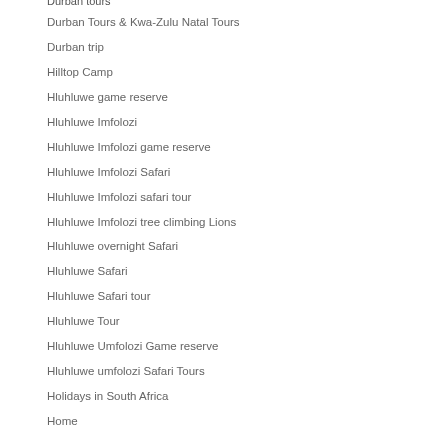Durban tours
Durban Tours & Kwa-Zulu Natal Tours
Durban trip
Hilltop Camp
Hluhluwe game reserve
Hluhluwe Imfolozi
Hluhluwe Imfolozi game reserve
Hluhluwe Imfolozi Safari
Hluhluwe Imfolozi safari tour
Hluhluwe Imfolozi tree climbing Lions
Hluhluwe overnight Safari
Hluhluwe Safari
Hluhluwe Safari tour
Hluhluwe Tour
Hluhluwe Umfolozi Game reserve
Hluhluwe umfolozi Safari Tours
Holidays in South Africa
Home